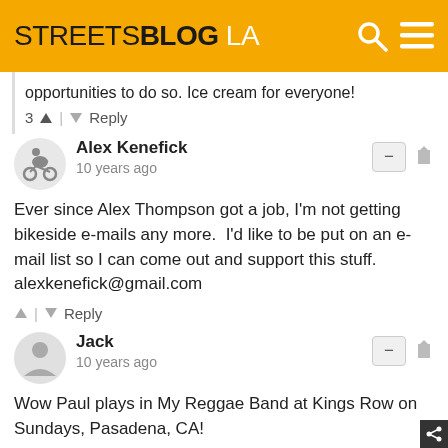STREETSBLOG LA
opportunities to do so. Ice cream for everyone!
3 ↑ | ↓ Reply
Alex Kenefick
10 years ago
Ever since Alex Thompson got a job, I'm not getting bikeside e-mails any more.  I'd like to be put on an e-mail list so I can come out and support this stuff.  alexkenefick@gmail.com
↑ | ↓ Reply
Jack
10 years ago
Wow Paul plays in My Reggae Band at Kings Row on Sundays, Pasadena, CA!
↑ | ↓ Reply
Paul Livingston → Jack
10 years ago
True true!